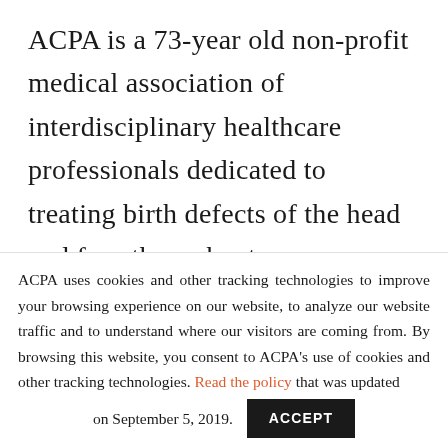ACPA is a 73-year old non-profit medical association of interdisciplinary healthcare professionals dedicated to treating birth defects of the head and face through a team care approach. ACPA supports the professional community and enhances the quality of team care by providing
ACPA uses cookies and other tracking technologies to improve your browsing experience on our website, to analyze our website traffic and to understand where our visitors are coming from. By browsing this website, you consent to ACPA's use of cookies and other tracking technologies. Read the policy that was updated on September 5, 2019.